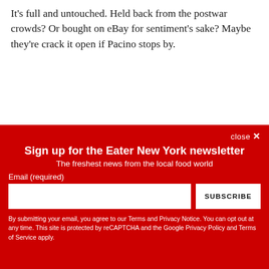It's full and untouched. Held back from the postwar crowds? Or bought on eBay for sentiment's sake? Maybe they're crack it open if Pacino stops by.
close ×
Sign up for the Eater New York newsletter
The freshest news from the local food world
Email (required)
SUBSCRIBE
By submitting your email, you agree to our Terms and Privacy Notice. You can opt out at any time. This site is protected by reCAPTCHA and the Google Privacy Policy and Terms of Service apply.